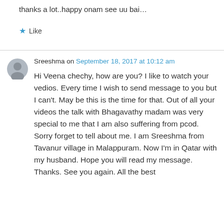thanks a lot..happy onam see uu bai…
★ Like
Sreeshma on September 18, 2017 at 10:12 am
Hi Veena chechy, how are you? I like to watch your vedios. Every time I wish to send message to you but I can't. May be this is the time for that. Out of all your videos the talk with Bhagavathy madam was very special to me that I am also suffering from pcod. Sorry forget to tell about me. I am Sreeshma from Tavanur village in Malappuram. Now I'm in Qatar with my husband. Hope you will read my message. Thanks. See you again. All the best